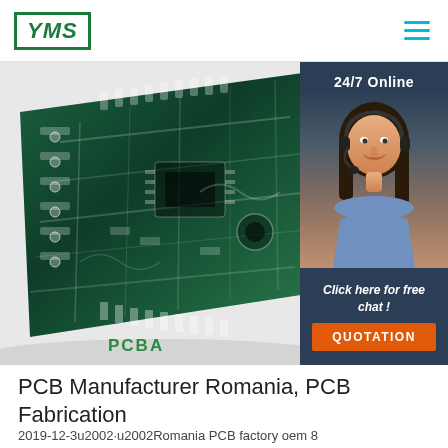[Figure (logo): YMS logo in green box with italic bold letters]
[Figure (photo): Green PCB circuit board with white traces, connectors and components, angled view]
[Figure (photo): Customer service representative with headset, 24/7 Online panel with dark navy background, Click here for free chat button, and orange QUOTATION button]
PCBA
PCB Manufacturer Romania, PCB Fabrication
2019-12-3u2002·u2002Romania PCB factory oem 8